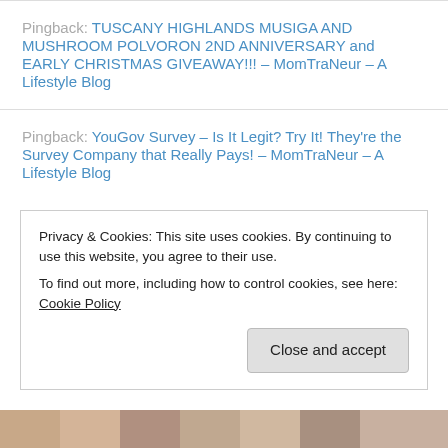Pingback: TUSCANY HIGHLANDS MUSIGA AND MUSHROOM POLVORON 2ND ANNIVERSARY and EARLY CHRISTMAS GIVEAWAY!!!  – MomTraNeur – A Lifestyle Blog
Pingback: YouGov Survey – Is It Legit? Try It! They're the Survey Company that Really Pays! – MomTraNeur – A Lifestyle Blog
Privacy & Cookies: This site uses cookies. By continuing to use this website, you agree to their use.
To find out more, including how to control cookies, see here: Cookie Policy
Close and accept
[Figure (photo): Bottom strip showing partial photo of people]